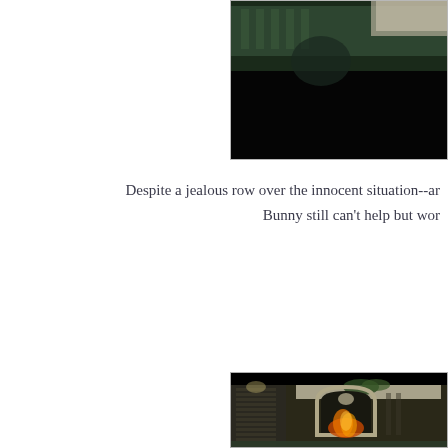[Figure (photo): A dark movie still showing a sofa with a striped pattern and what appears to be a dining table in the background, mostly dark/black tones.]
Despite a jealous row over the innocent situation--an
Bunny still can't help but wor
[Figure (photo): A movie still showing an ornate fireplace with an arched opening, fire burning inside, decorative mantelpiece with carved face, plants on top, a lamp and louvred door visible to the left, green sofa in foreground.]